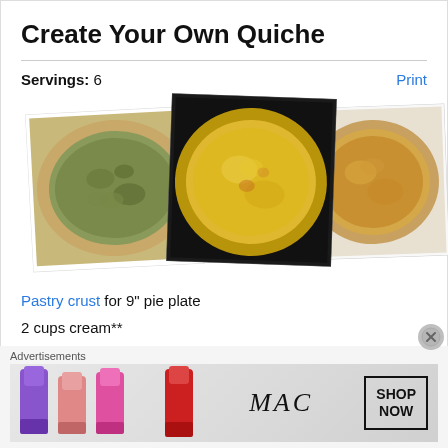Create Your Own Quiche
Servings: 6
[Figure (photo): Three photos of baked quiches: one with herb/spinach topping (left), one with yellow egg filling (center), one golden brown (right)]
Pastry crust for 9" pie plate
2 cups cream**
4 eggs
½ tsp salt
Advertisements
[Figure (photo): MAC cosmetics advertisement showing lipsticks and SHOP NOW button]